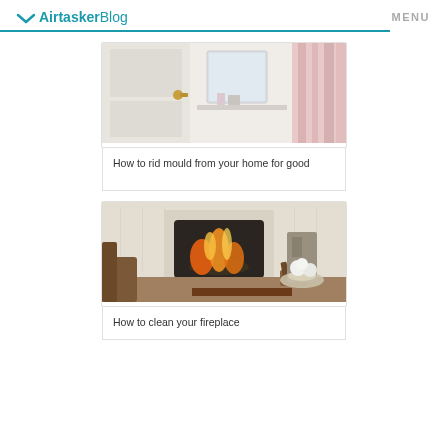Airtasker Blog  MENU
[Figure (photo): Bathroom interior with white door, mirror, and pink curtains]
How to rid mould from your home for good
[Figure (photo): Living room fireplace with fire burning, firewood, and floral arrangement on table]
How to clean your fireplace